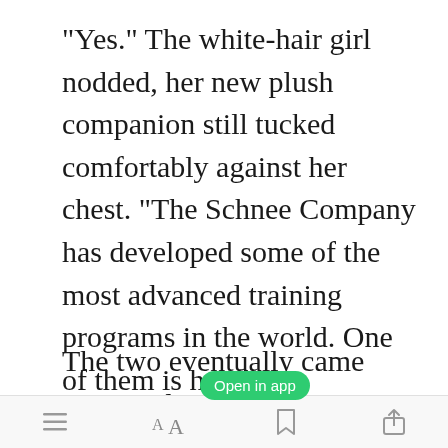"Yes." The white-hair girl nodded, her new plush companion still tucked comfortably against her chest. "The Schnee Company has developed some of the most advanced training programs in the world. One of them is here at headquarters."
The two eventually came across a large, metallic sliding door. On the
[Figure (screenshot): Green 'Open in app' button overlay on top of the text]
toolbar with menu, font, bookmark, and share icons